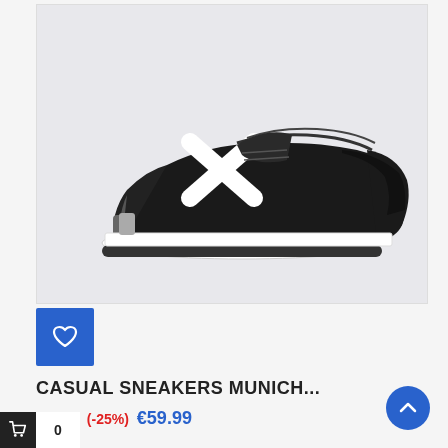[Figure (photo): Black Munich casual sneaker with white X logo on side, white sole, displayed on light gray background]
[Figure (other): Blue square wishlist/favorite button with heart icon outline]
CASUAL SNEAKERS MUNICH...
€79.99 (-25%) €59.99